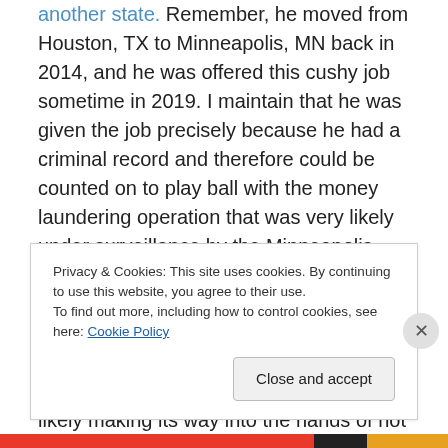another state. Remember, he moved from Houston, TX to Minneapolis, MN back in 2014, and he was offered this cushy job sometime in 2019. I maintain that he was given the job precisely because he had a criminal record and therefore could be counted on to play ball with the money laundering operation that was very likely under surveillance by the Minneapolis Police Department, Secret Service, FBI, DEA, and/or Joint Terrorism Task Force as part of an investigation into counterfeit currency coming into Minneapolis-St. Paul, Minnesota from China and very likely making its way into the hands of not only the Latino
Privacy & Cookies: This site uses cookies. By continuing to use this website, you agree to their use.
To find out more, including how to control cookies, see here: Cookie Policy